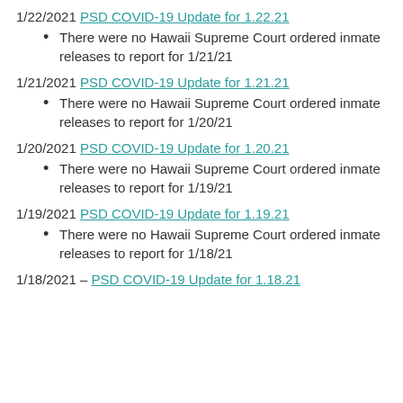1/22/2021 PSD COVID-19 Update for 1.22.21
There were no Hawaii Supreme Court ordered inmate releases to report for 1/21/21
1/21/2021 PSD COVID-19 Update for 1.21.21
There were no Hawaii Supreme Court ordered inmate releases to report for 1/20/21
1/20/2021 PSD COVID-19 Update for 1.20.21
There were no Hawaii Supreme Court ordered inmate releases to report for 1/19/21
1/19/2021 PSD COVID-19 Update for 1.19.21
There were no Hawaii Supreme Court ordered inmate releases to report for 1/18/21
1/18/2021 – PSD COVID-19 Update for 1.18.21